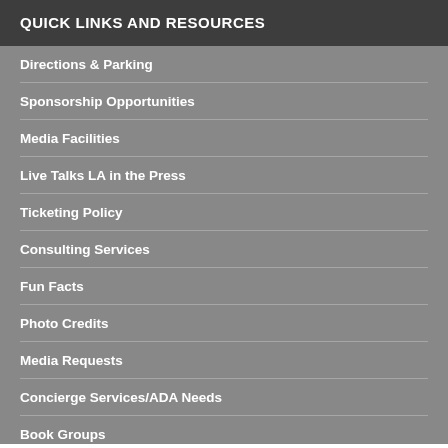QUICK LINKS AND RESOURCES
Directions & Parking
Sponsorship Opportunities
Media Facilities
Live Talks LA in the Press
Ticketing Policy
Consulting Services
Fun Facts
Photo Credits
Media Requests
Concierge Services/ADA Needs
Book Groups
Privacy Policy
Terms of Service